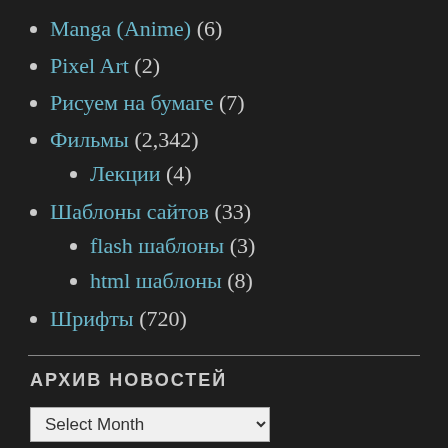Manga (Anime) (6)
Pixel Art (2)
Рисуем на бумаге (7)
Фильмы (2,342)
Лекции (4)
Шаблоны сайтов (33)
flash шаблоны (3)
html шаблоны (8)
Шрифты (720)
АРХИВ НОВОСТЕЙ